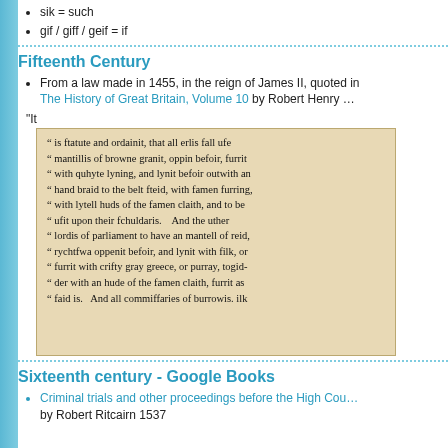sik = such
gif / giff / geif = if
Fifteenth Century
From a law made in 1455, in the reign of James II, quoted in The History of Great Britain, Volume 10 by Robert Henry ...
"It
[Figure (photo): Scanned page from an old book showing a quoted passage in archaic Scottish English about statutes for earls and lords of parliament regarding mantles and garments.]
Sixteenth century - Google Books
Criminal trials and other proceedings before the High Cou... by Robert Ritcairn 1537